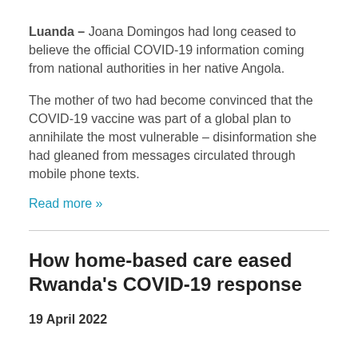Luanda – Joana Domingos had long ceased to believe the official COVID-19 information coming from national authorities in her native Angola.
The mother of two had become convinced that the COVID-19 vaccine was part of a global plan to annihilate the most vulnerable – disinformation she had gleaned from messages circulated through mobile phone texts.
Read more »
How home-based care eased Rwanda's COVID-19 response
19 April 2022